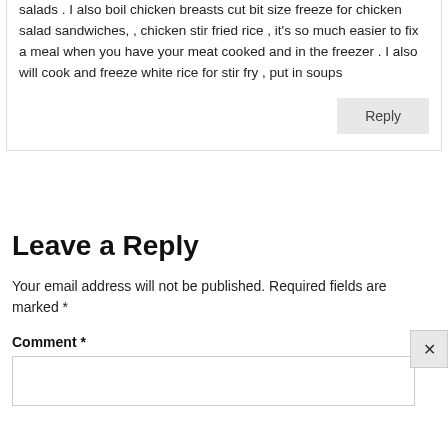salads . I also boil chicken breasts cut bit size freeze for chicken salad sandwiches, , chicken stir fried rice , it's so much easier to fix a meal when you have your meat cooked and in the freezer . I also will cook and freeze white rice for stir fry , put in soups
Reply
Leave a Reply
Your email address will not be published. Required fields are marked *
Comment *